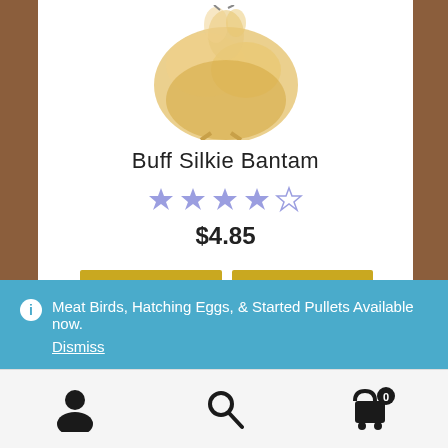[Figure (photo): Fluffy buff/yellow chick photographed from below, showing feet and fluffy body]
Buff Silkie Bantam
[Figure (other): 4-star rating displayed with blue/purple star icons]
$4.85
Select options
Quick View
♡ Add to Wishlist
ℹ Meat Birds, Hatching Eggs, & Started Pullets Available now.
Dismiss